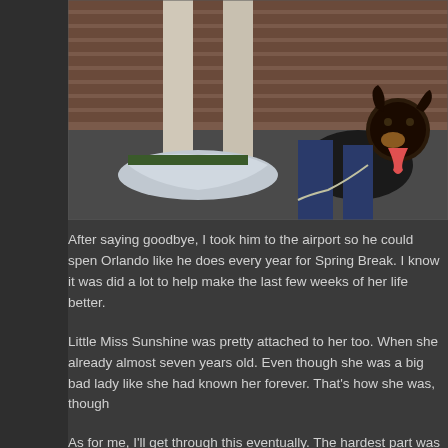[Figure (photo): A black and tan Rottweiler dog sitting on pavement near a brick building, being held by a person, with a white blanket on the ground nearby.]
After saying goodbye, I took him to the airport so he could spend Orlando like he does every year for Spring Break. I know it was did a lot to help make the last few weeks of her life better.
Little Miss Sunshine was pretty attached to her too. When she already almost seven years old. Even though she was a big bad lady like she had known her forever. That’s how she was, though
As for me, I’ll get through this eventually. The hardest part was seeing my dog on her bed, and only having to take care of the not a “pet person”, then you probably don’t understand. I had th my kid, so yeah, you could say that I was attached to her. Even another dog, the house seems empty for some reason. Things same.